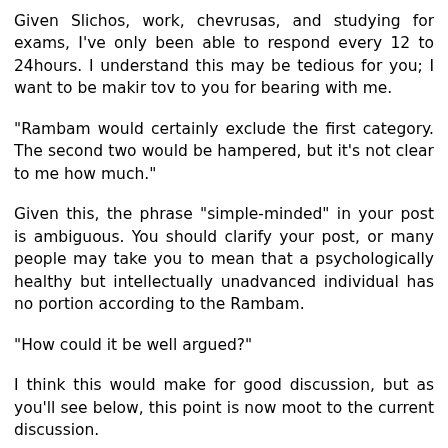Given Slichos, work, chevrusas, and studying for exams, I've only been able to respond every 12 to 24hours. I understand this may be tedious for you; I want to be makir tov to you for bearing with me.
"Rambam would certainly exclude the first category. The second two would be hampered, but it's not clear to me how much."
Given this, the phrase "simple-minded" in your post is ambiguous. You should clarify your post, or many people may take you to mean that a psychologically healthy but intellectually unadvanced individual has no portion according to the Rambam.
"How could it be well argued?"
I think this would make for good discussion, but as you'll see below, this point is now moot to the current discussion.
"My main focus was not on the idea of philosophical proofs. It was on the idea of being rigidly locked into medieval